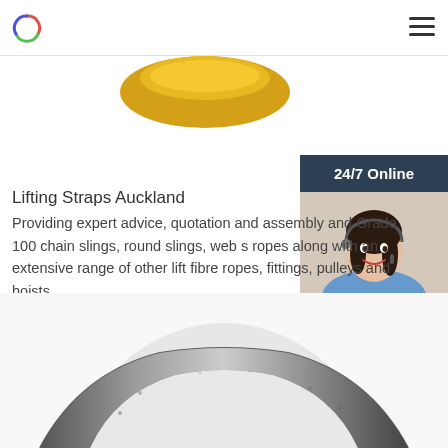[Figure (photo): Partial circular golden/yellow sling or lifting strap product photo at top center]
Lifting Straps Auckland
Providing expert advice, quotation and assembly and Grade 100 chain slings, round slings, web s ropes along with an extensive range of other lift fibre ropes, fittings, pulleys and hoists.
[Figure (photo): 24/7 Online chat widget with photo of smiling female customer service representative wearing headset, dark blue background, with 'Click here for free chat!' text and orange QUOTATION button]
[Figure (photo): Get Price green button]
[Figure (photo): Bottom partial view of a large metal ring/shackle lifting hardware product in dark gray/silver color]